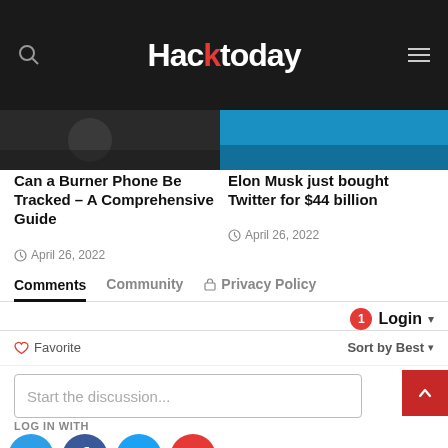Hacktoday
[Figure (screenshot): Two article thumbnail images in a dark banner area]
Can a Burner Phone Be Tracked – A Comprehensive Guide
April 26, 2022
Elon Musk just bought Twitter for $44 billion
April 26, 2022
Comments  Community  Privacy Policy
1  Login
Favorite  Sort by Best
Start the discussion...
LOG IN WITH